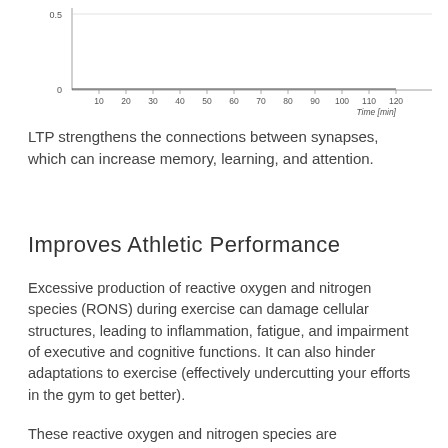[Figure (continuous-plot): Bottom portion of a line chart showing y-axis value 0.5 at top, 0 at bottom, and x-axis labeled Time [min] with ticks at 10, 20, 30, 40, 50, 60, 70, 80, 90, 100, 110, 120. The visible data appears to show a line near zero.]
LTP strengthens the connections between synapses, which can increase memory, learning, and attention.
Improves Athletic Performance
Excessive production of reactive oxygen and nitrogen species (RONS) during exercise can damage cellular structures, leading to inflammation, fatigue, and impairment of executive and cognitive functions. It can also hinder adaptations to exercise (effectively undercutting your efforts in the gym to get better).
These reactive oxygen and nitrogen species are